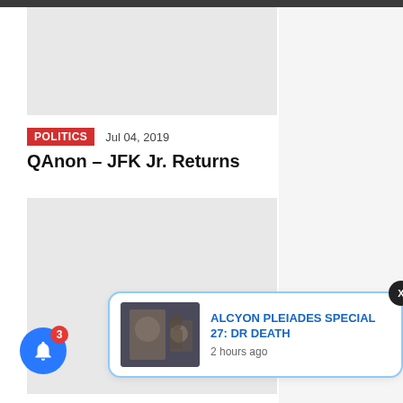[Figure (photo): Light gray placeholder image at top of article]
POLITICS   Jul 04, 2019
QAnon – JFK Jr. Returns
[Figure (photo): Light gray placeholder image below article title]
[Figure (screenshot): Browser notification popup showing 'ALCYON PLEIADES SPECIAL 27: DR DEATH' with thumbnail image and '2 hours ago' timestamp, with blue bell notification icon showing badge count of 3 and X close button]